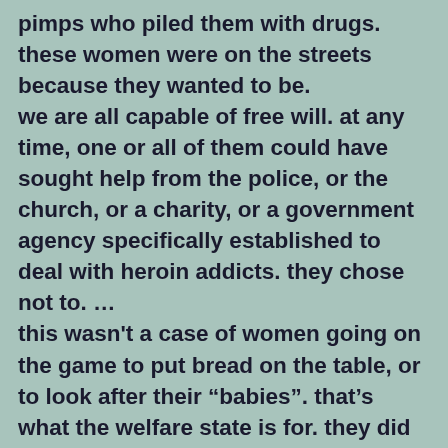pimps who piled them with drugs. these women were on the streets because they wanted to be. we are all capable of free will. at any time, one or all of them could have sought help from the police, or the church, or a charity, or a government agency specifically established to deal with heroin addicts. they chose not to. … this wasn't a case of women going on the game to put bread on the table, or to look after their “babies”. that’s what the welfare state is for. they did it for drugs.